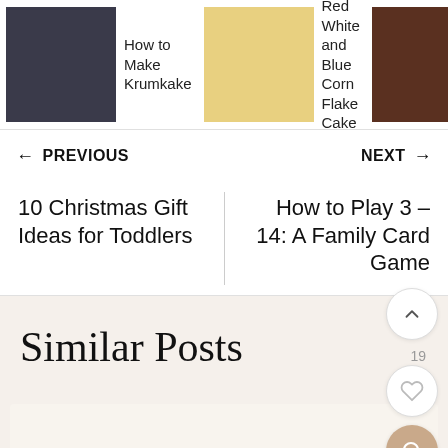[Figure (screenshot): Top navigation image strip showing three food blog post thumbnails with titles: 'How to Make Krumkake', 'Red White and Blue Corn Flake Cake', 'Homemade Peanut Butter Cups']
← PREVIOUS
NEXT →
10 Christmas Gift Ideas for Toddlers
How to Play 3 – 14: A Family Card Game
Similar Posts